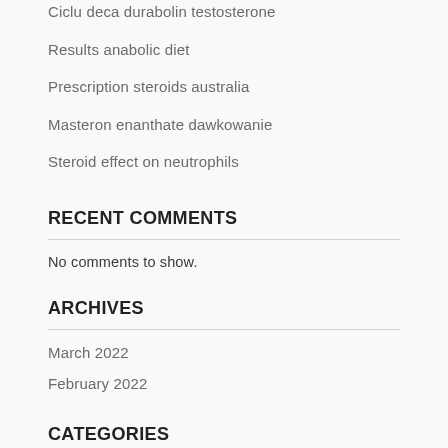Ciclu deca durabolin testosterone
Results anabolic diet
Prescription steroids australia
Masteron enanthate dawkowanie
Steroid effect on neutrophils
RECENT COMMENTS
No comments to show.
ARCHIVES
March 2022
February 2022
CATEGORIES